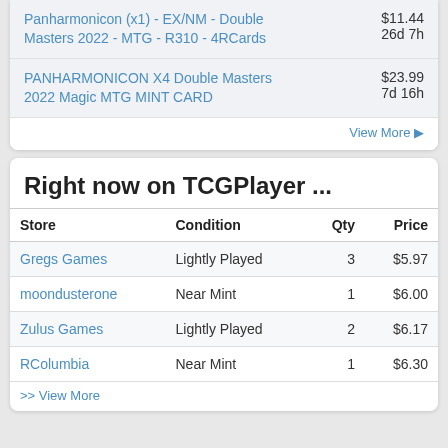Panharmonicon (x1) - EX/NM - Double Masters 2022 - MTG - R310 - 4RCards  $11.44  26d 7h
PANHARMONICON X4 Double Masters 2022 Magic MTG MINT CARD  $23.99  7d 16h
View More ▶
Right now on TCGPlayer ...
| Store | Condition | Qty | Price |
| --- | --- | --- | --- |
| Gregs Games | Lightly Played | 3 | $5.97 |
| moondusterone | Near Mint | 1 | $6.00 |
| Zulus Games | Lightly Played | 2 | $6.17 |
| RColumbia | Near Mint | 1 | $6.30 |
>> View More